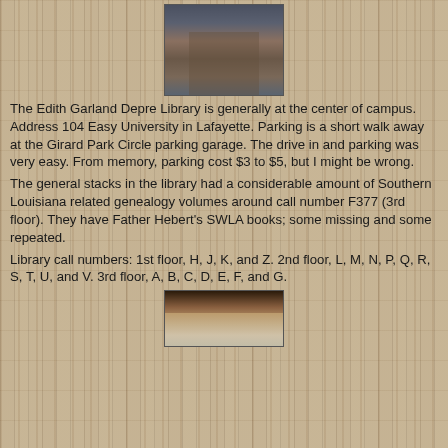[Figure (photo): Exterior photo of the Edith Garland Depre Library building showing brick facade and roofline]
The Edith Garland Depre Library is generally at the center of campus.  Address 104 Easy University in Lafayette.  Parking is a short walk away at the Girard Park Circle parking garage.  The drive in and parking was very easy.  From memory, parking cost $3 to $5, but I might be wrong.
The general stacks in the library had a considerable amount of Southern Louisiana related genealogy volumes around call number F377 (3rd floor).  They have Father Hebert's SWLA books; some missing and some repeated.
Library call numbers: 1st floor, H, J, K, and Z.  2nd floor, L, M, N, P, Q, R, S, T, U, and V.  3rd floor, A, B, C, D, E, F, and G.
[Figure (photo): Interior photo of the library showing wooden furniture/ceiling]